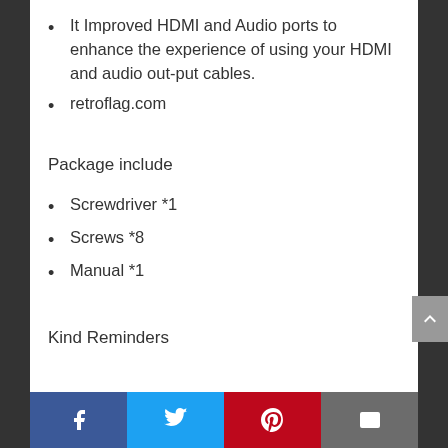It Improved HDMI and Audio ports to enhance the experience of using your HDMI and audio out-put cables.
retroflag.com
Package include
Screwdriver *1
Screws *8
Manual *1
Kind Reminders